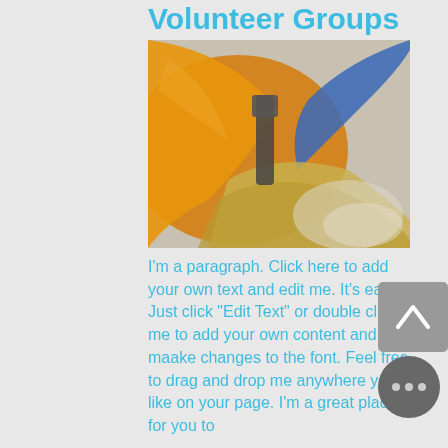Volunteer Groups
[Figure (photo): Close-up photo of a person wearing an orange shirt and blue gloves, working with hay/straw using tools, with dust/smoke visible in the background]
I'm a paragraph. Click here to add your own text and edit me. It's easy. Just click "Edit Text" or double click me to add your own content and maake changes to the font. Feel free to drag and drop me anywhere you like on your page. I'm a great place for you to